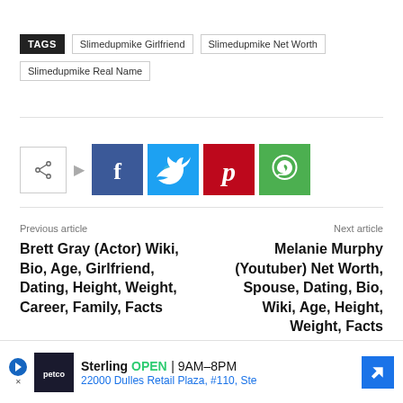TAGS  Slimedupmike Girlfriend  Slimedupmike Net Worth  Slimedupmike Real Name
[Figure (infographic): Social share buttons: share icon, Facebook (blue), Twitter (cyan), Pinterest (red), WhatsApp (green)]
Previous article
Brett Gray (Actor) Wiki, Bio, Age, Girlfriend, Dating, Height, Weight, Career, Family, Facts
Next article
Melanie Murphy (Youtuber) Net Worth, Spouse, Dating, Bio, Wiki, Age, Height, Weight, Facts
[Figure (other): Petco advertisement: Sterling OPEN 9AM-8PM, 22000 Dulles Retail Plaza, #110, Ste]